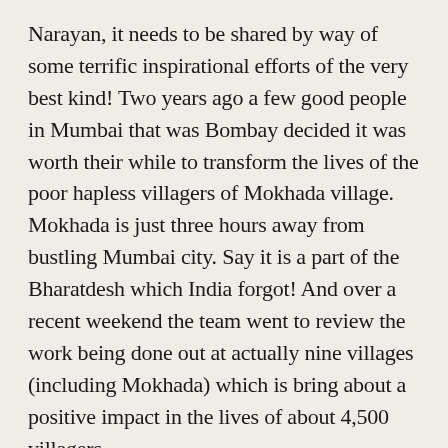Narayan, it needs to be shared by way of some terrific inspirational efforts of the very best kind! Two years ago a few good people in Mumbai that was Bombay decided it was worth their while to transform the lives of the poor hapless villagers of Mokhada village. Mokhada is just three hours away from bustling Mumbai city. Say it is a part of the Bharatdesh which India forgot! And over a recent weekend the team went to review the work being done out at actually nine villages (including Mokhada) which is bring about a positive impact in the lives of about 4,500 villagers.
Ramesh (who's an old friend of sorts) tells me it all started as an initiative of the Rotary Club of Bombay with some philanthropists willing to bankroll it. Two years down the line the villagers